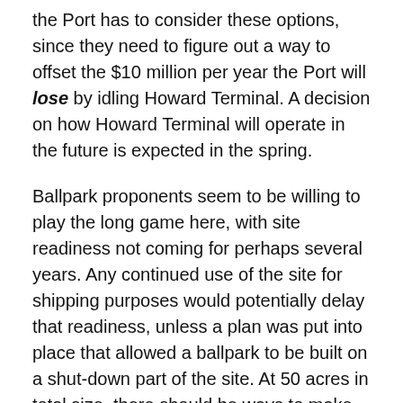the Port has to consider these options, since they need to figure out a way to offset the $10 million per year the Port will lose by idling Howard Terminal. A decision on how Howard Terminal will operate in the future is expected in the spring.
Ballpark proponents seem to be willing to play the long game here, with site readiness not coming for perhaps several years. Any continued use of the site for shipping purposes would potentially delay that readiness, unless a plan was put into place that allowed a ballpark to be built on a shut-down part of the site. At 50 acres in total size, there should be ways to make this happen. Developing the entire 50 acres would be another story.
Quan said that the to-be-released plan would be able to sidestep various environmental requirements, including